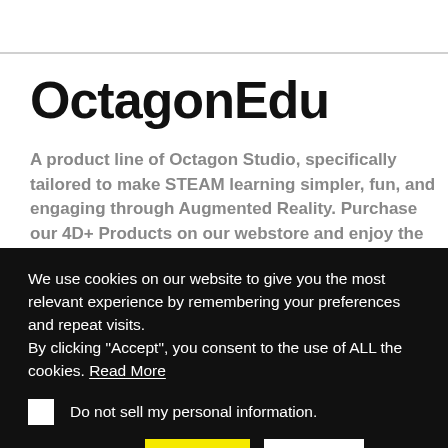OctagonEdu
A product line of Octagon Studio, specifically tailored to make STEAM learning simpler, fun, and engaging through Augmented Reality. Purchase our 4D+ Products on our webstore and enjoy the apps for free, available to download on the App Store and Play...
We use cookies on our website to give you the most relevant experience by remembering your preferences and repeat visits.
By clicking “Accept”, you consent to the use of ALL the cookies. Read More
Do not sell my personal information.
Cookie settings
Accept
Reject